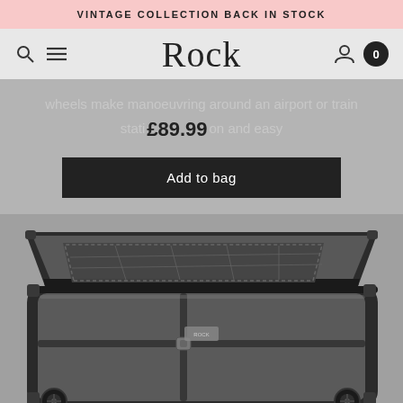VINTAGE COLLECTION BACK IN STOCK
[Figure (screenshot): Rock luggage brand navigation bar with search icon, hamburger menu, Rock logo (serif), user account icon, and cart badge showing 0]
wheels make manoeuvring around an airport or train station and easy
£89.99
Add to bag
[Figure (photo): Open dark/black hard-shell Rock luggage suitcase lying flat, showing interior with mesh divider panel, packing straps, and smooth lining. Photographed on a textured grey surface with two spinner wheels visible.]